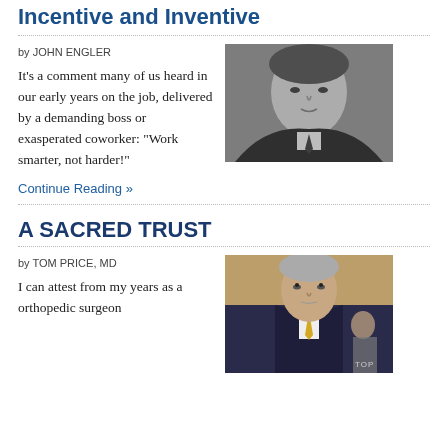Incentive and Inventive
by JOHN ENGLER
[Figure (photo): Black and white portrait photo of a man in a suit and tie, looking slightly to the side]
It's a comment many of us heard in our early years on the job, delivered by a demanding boss or exasperated coworker: “Work smarter, not harder!”
Continue Reading »
A SACRED TRUST
by TOM PRICE, MD
I can attest from my years as a orthopedic surgeon
[Figure (photo): Color photo of a man in a dark suit with yellow tie, looking upward, in what appears to be a hearing room setting]